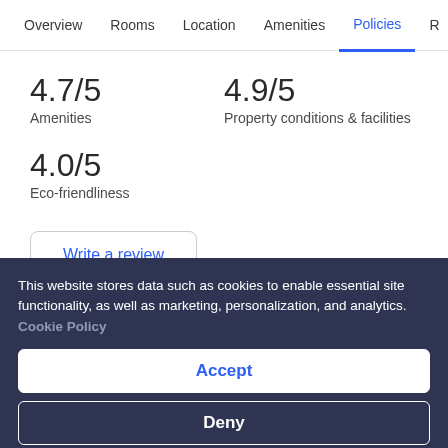Overview  Rooms  Location  Amenities  Policies  R
4.7/5
Amenities
4.9/5
Property conditions & facilities
4.0/5
Eco-friendliness
Write a review
This website stores data such as cookies to enable essential site functionality, as well as marketing, personalization, and analytics. Cookie Policy
Accept
Deny